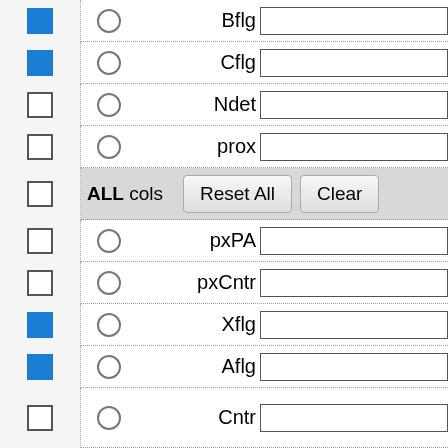[Figure (screenshot): A UI configuration panel showing a list of data field rows. Each row contains: a checkbox (some checked/blue, some unchecked), a radio button, a right-aligned label (Bflg, Cflg, Ndet, prox, pxPA, pxCntr, Xflg, Aflg, Cntr, Hemis, Date, Scan, GLON), and a text input field. A special highlighted row with gray background contains a checkbox, 'ALL cols' label, and 'Reset All' and 'Clear' buttons. Checked rows: Bflg (partial, at top), Cflg, Xflg, Aflg.]